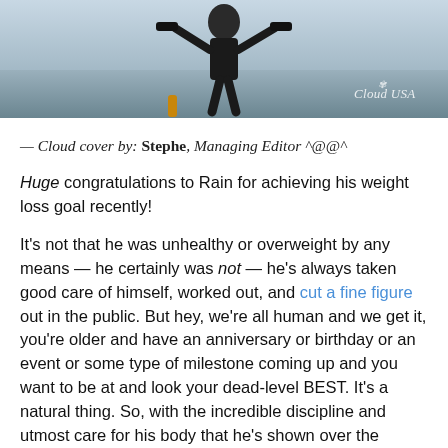[Figure (photo): A person lifting dumbbells outdoors, with a Cloud USA watermark in the lower right corner of the image.]
— Cloud cover by: Stephe, Managing Editor ^@@^
Huge congratulations to Rain for achieving his weight loss goal recently!
It's not that he was unhealthy or overweight by any means — he certainly was not — he's always taken good care of himself, worked out, and cut a fine figure out in the public. But hey, we're all human and we get it, you're older and have an anniversary or birthday or an event or some type of milestone coming up and you want to be at and look your dead-level BEST. It's a natural thing. So, with the incredible discipline and utmost care for his body that he's shown over the years, it was only a slight surprise when